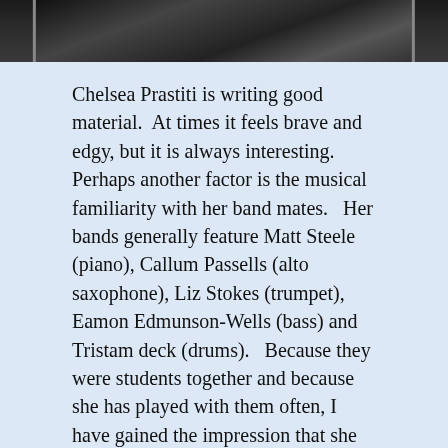[Figure (photo): Black and white photograph strip showing a person, partially visible at the top of the page]
Chelsea Prastiti is writing good material.  At times it feels brave and edgy, but it is always interesting.  Perhaps another factor is the musical familiarity with her band mates.   Her bands generally feature Matt Steele (piano), Callum Passells (alto saxophone), Liz Stokes (trumpet), Eamon Edmunson-Wells (bass) and Tristam deck (drums).   Because they were students together and because she has played with them often, I have gained the impression that she may even write material with them in mind.   One of her best recent performances was as guest artist on Callum Passells last CJC gig.   These two always work well together, but hearing them moving in lockstep as they traversed standards and amazingly innovative free numbers was a